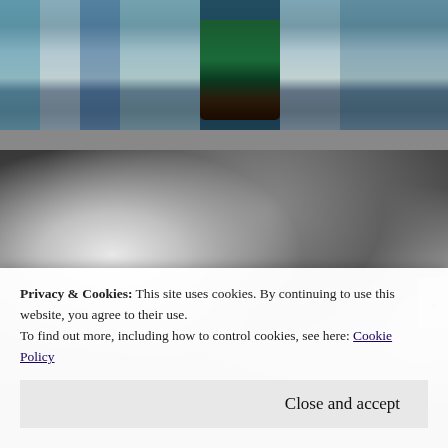[Figure (photo): Color photo of people in traditional costumes, partial view showing torsos with decorative garments in blue, green and dark colors]
[Figure (photo): Black and white photograph of a young woman with long windswept hair wearing a white shirt, sitting outdoors among trees]
Privacy & Cookies: This site uses cookies. By continuing to use this website, you agree to their use.
To find out more, including how to control cookies, see here: Cookie Policy
Close and accept